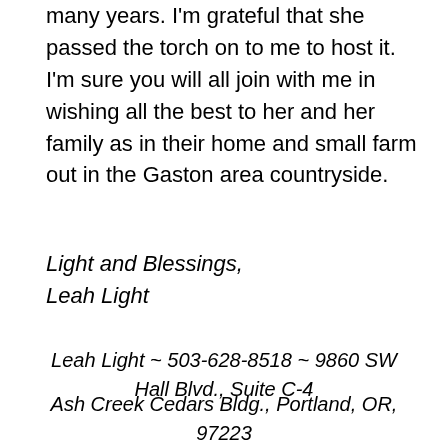many years. I'm grateful that she passed the torch on to me to host it. I'm sure you will all join with me in wishing all the best to her and her family as in their home and small farm out in the Gaston area countryside.
Light and Blessings,
Leah Light
Leah Light ~ 503-628-8518 ~ 9860 SW Hall Blvd., Suite C-4
Ash Creek Cedars Bldg., Portland, OR, 97223